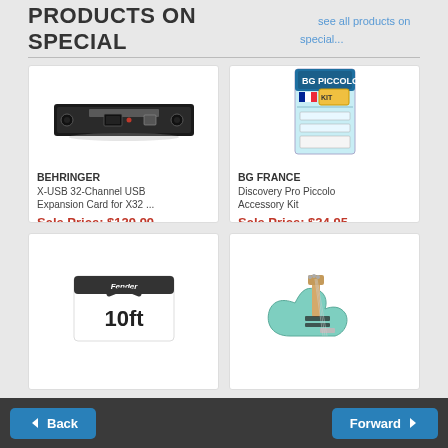PRODUCTS ON SPECIAL
see all products on special...
[Figure (photo): Behringer X-USB 32-Channel USB Expansion Card, black rack-mount unit]
BEHRINGER
X-USB 32-Channel USB Expansion Card for X32 ...
Sale Price: $129.99
Regular Price: $227.99
(0 Reviews)
[Figure (photo): BG France Discovery Pro Piccolo Accessory Kit product box]
BG FRANCE
Discovery Pro Piccolo Accessory Kit
Sale Price: $24.95
Regular Price: $30.25
(0 Reviews)
[Figure (photo): Fender 10ft cable box product image]
[Figure (photo): Surf green Fender Stratocaster electric guitar]
Back  Forward